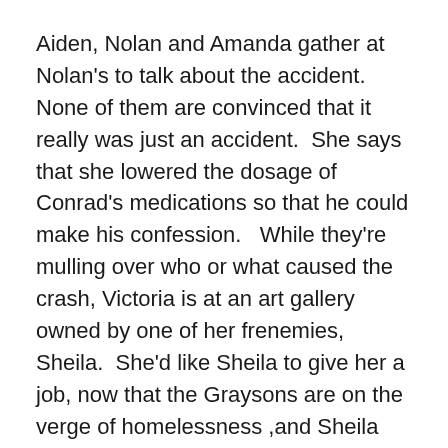Aiden, Nolan and Amanda gather at Nolan's to talk about the accident.  None of them are convinced that it really was just an accident.  She says that she lowered the dosage of Conrad's medications so that he could make his confession.   While they're mulling over who or what caused the crash, Victoria is at an art gallery owned by one of her frenemies, Sheila.  She'd like Sheila to give her a job, now that the Graysons are on the verge of homelessness ,and Sheila happily hires her, if only to watch her newly impoverished friend squirm in front of all of the Hamptons' society types.
Amanda goes to see Daniel at his office and finds Detective Marsh is there to investigate the crash.  Daniel has already told the detective everything that Amanda told him, so there's no need for her to give a statement.  I